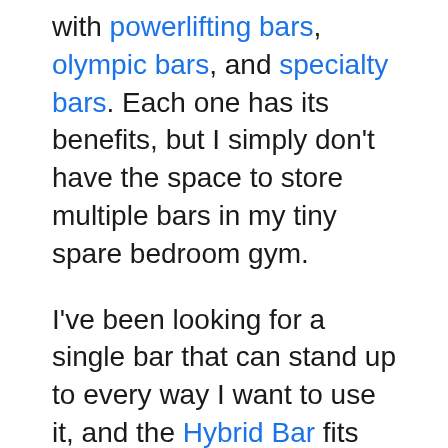with powerlifting bars, olympic bars, and specialty bars. Each one has its benefits, but I simply don't have the space to store multiple bars in my tiny spare bedroom gym.
I've been looking for a single bar that can stand up to every way I want to use it, and the Hybrid Bar fits that bill almost perfectly.
Specifications
Fringe Sport Hybrid Bar specs: